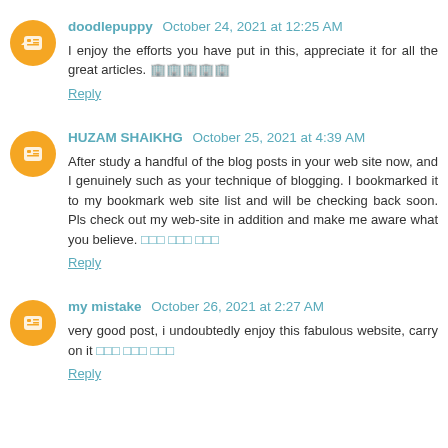doodlepuppy  October 24, 2021 at 12:25 AM
I enjoy the efforts you have put in this, appreciate it for all the great articles. 🏢🏢🏢🏢🏢
Reply
HUZAM SHAIKHG  October 25, 2021 at 4:39 AM
After study a handful of the blog posts in your web site now, and I genuinely such as your technique of blogging. I bookmarked it to my bookmark web site list and will be checking back soon. Pls check out my web-site in addition and make me aware what you believe. 🔗 🔗 🔗 🔗 🔗 🔗
Reply
my mistake  October 26, 2021 at 2:27 AM
very good post, i undoubtedly enjoy this fabulous website, carry on it 🔗 🔗 🔗 🔗 🔗 🔗
Reply